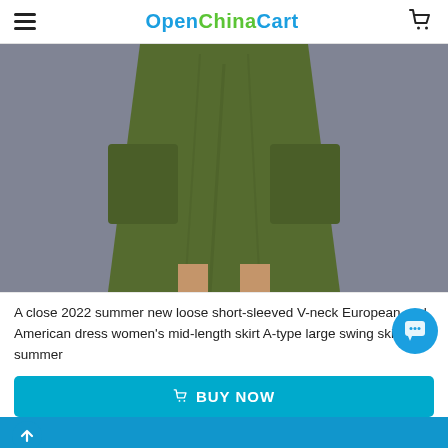OpenChinaCart
[Figure (photo): A model wearing an olive green loose short-sleeved V-neck A-type large swing mid-length dress/skirt, showing the lower body portion with large side pockets, on a grey background.]
A close 2022 summer new loose short-sleeved V-neck European and American dress women's mid-length skirt A-type large swing skirt summer
BUY NOW
[Figure (photo): Partial view of the next product image at the bottom of the page.]